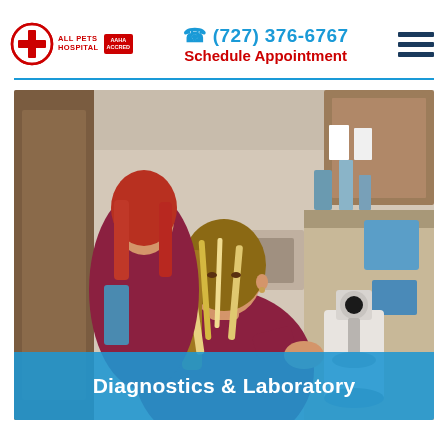All Pets Hospital | (727) 376-6767 | Schedule Appointment
[Figure (photo): Two female veterinary technicians in a laboratory setting; one with highlighted blonde hair leaning over a microscope in the foreground wearing a maroon top, another with red hair standing behind her, also in maroon. Lab equipment, cabinets, and supplies visible in the background.]
Diagnostics & Laboratory